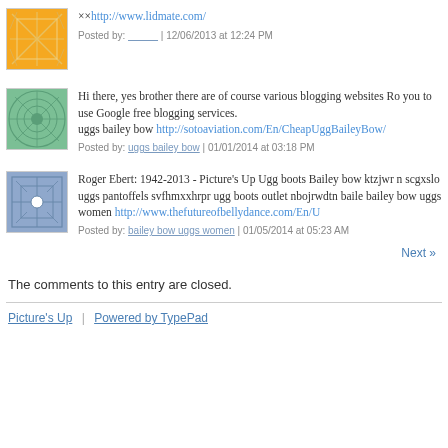×-lidmate http://www.lidmate.com/
Posted by: | 12/06/2013 at 12:24 PM
Hi there, yes brother there are of course various blogging websites Ro you to use Google free blogging services. uggs bailey bow http://sotoaviation.com/En/CheapUggBaileyBow/
Posted by: uggs bailey bow | 01/01/2014 at 03:18 PM
Roger Ebert: 1942-2013 - Picture's Up Ugg boots Bailey bow ktzjwr scgxslo uggs pantoffels svfhmxxhrpr ugg boots outlet nbojrwdtn baile bailey bow uggs women http://www.thefutureofbellydance.com/En/U
Posted by: bailey bow uggs women | 01/05/2014 at 05:23 AM
Next »
The comments to this entry are closed.
Picture's Up | Powered by TypePad